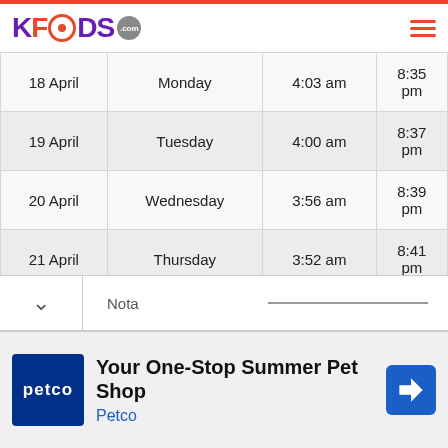KFoods.com
| Date | Day | Sunrise | Sunset |
| --- | --- | --- | --- |
| 18 April | Monday | 4:03 am | 8:35 pm |
| 19 April | Tuesday | 4:00 am | 8:37 pm |
| 20 April | Wednesday | 3:56 am | 8:39 pm |
| 21 April | Thursday | 3:52 am | 8:41 pm |
| 22 April | Friday | 3:49 am | 8:42 pm |
| 23 April | Saturday | 3:45 am | 8:44 pm |
Nota
[Figure (other): Petco advertisement banner: Your One-Stop Summer Pet Shop]